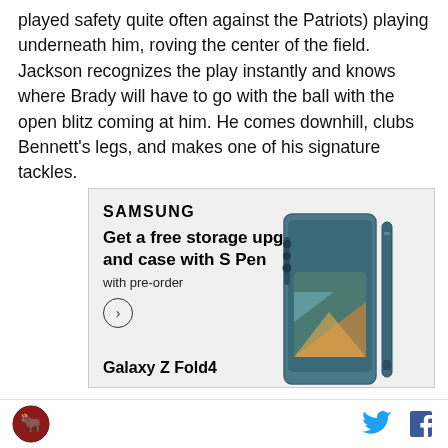played safety quite often against the Patriots) playing underneath him, roving the center of the field. Jackson recognizes the play instantly and knows where Brady will have to go with the ball with the open blitz coming at him. He comes downhill, clubs Bennett's legs, and makes one of his signature tackles.
[Figure (other): Samsung Galaxy Z Fold4 advertisement. Shows Samsung logo, text 'Get a free storage upgrade and case with S Pen with pre-order', a circular arrow button, an image of the Galaxy Z Fold4 phone and stylus, and 'Galaxy Z Fold4' text at the bottom.]
Site logo (bull icon) on the left, Twitter and Facebook icons on the right